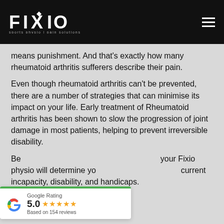[Figure (logo): FIXIO logo with diamond symbol, white on black background, subtitle: sports physio | pain solutions]
means punishment. And that's exactly how many rheumatoid arthritis sufferers describe their pain.
Even though rheumatoid arthritis can't be prevented, there are a number of strategies that can minimise its impact on your life. Early treatment of Rheumatoid arthritis has been shown to slow the progression of joint damage in most patients, helping to prevent irreversible disability.
Be... your Fixio physio will determine yo... current incapacity, disability, and handicaps.
[Figure (other): Google Rating widget showing 5.0 stars based on 154 reviews]